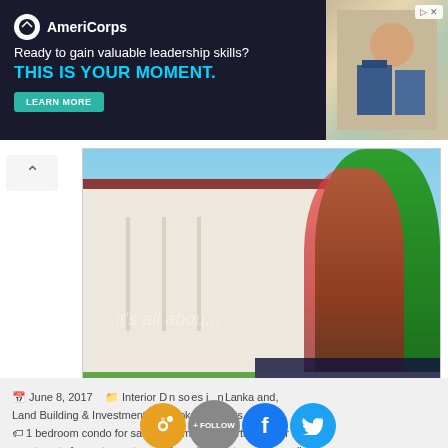[Figure (photo): AmeriCorps advertisement banner with dark background, logo, tagline 'Ready to gain valuable leadership skills? THIS IS YOUR MOMENT.' with teal LEARN MORE button, and photo of people on right]
[Figure (photo): Real estate advertisement image for Bentota Yathramulla Riverside Boutique Villa Hotel for sale, showing a colonial-style villa with gardens, overlay text with property name in blue and green, FOR SALE in red, phone number 0752 775 281, and Waterside (Pvt) Ltd. branding]
Bentota Yathramulla (Riveiside) Boutique Villa Hotel for Sale
June 8, 2017   Interior Design sources in Sri Lanka and, Land Building & Investment, Sri Lanka discounts 1 bedroom condo for sale, apartments, apartments for buy, apartments for rent, apartments for sale, apartments for sell